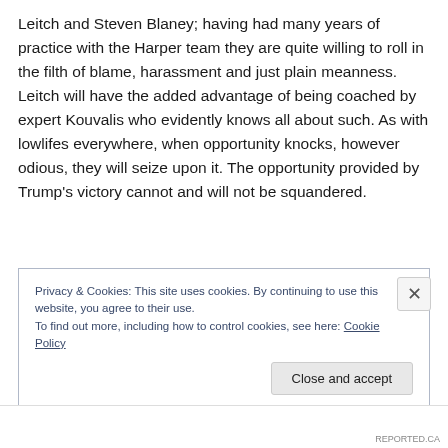Leitch and Steven Blaney; having had many years of practice with the Harper team they are quite willing to roll in the filth of blame, harassment and just plain meanness. Leitch will have the added advantage of being coached by expert Kouvalis who evidently knows all about such. As with lowlifes everywhere, when opportunity knocks, however odious, they will seize upon it. The opportunity provided by Trump's victory cannot and will not be squandered.
Privacy & Cookies: This site uses cookies. By continuing to use this website, you agree to their use. To find out more, including how to control cookies, see here: Cookie Policy
Close and accept